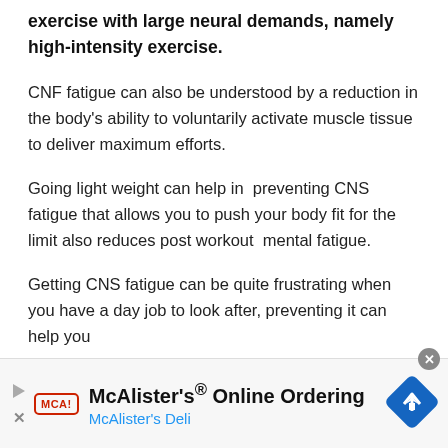exercise with large neural demands, namely high-intensity exercise.
CNF fatigue can also be understood by a reduction in the body's ability to voluntarily activate muscle tissue to deliver maximum efforts.
Going light weight can help in  preventing CNS fatigue that allows you to push your body fit for the limit also reduces post workout  mental fatigue.
Getting CNS fatigue can be quite frustrating when you have a day job to look after, preventing it can help you
[Figure (other): Advertisement banner: McAlister's Online Ordering — McAlister's Deli]